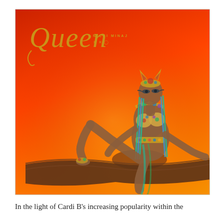[Figure (photo): Album cover for 'Queen' by Nicki Minaj. Orange/red gradient background. A woman in Egyptian-themed jeweled costume and headdress is posing on a large wooden log/branch. The word 'Queen' appears in gold italic script in the upper left, with 'NICKI MINAJ' in small gold text beside it.]
In the light of Cardi B's increasing popularity within the